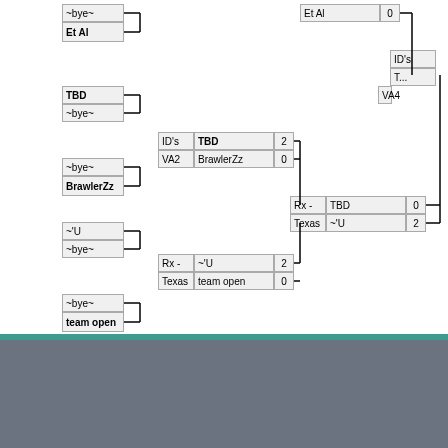[Figure (flowchart): Tournament bracket showing match results with teams: Et Al, TBD, BrawlerZz, ~'U, team open. Matches show scores and progression through bracket rounds.]
This page was last edited on 14 July 2012, at 15:49.

Privacy policy   About Armagetron   Disclaimers